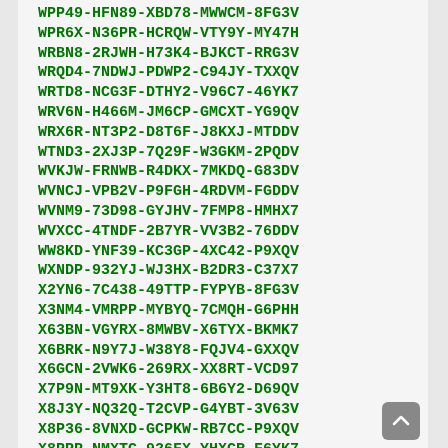WPP49-HFN89-XBD78-MWWCM-8FG3V
WPR6X-N36PR-HCRQW-VTY9Y-MY47H
WRBN8-2RJWH-H73K4-BJKCT-RRG3V
WRQD4-7NDWJ-PDWP2-C94JY-TXXQV
WRTD8-NCG3F-DTHY2-V96C7-46YK7
WRV6N-H466M-JM6CP-GMCXT-YG9QV
WRX6R-NT3P2-D8T6F-J8KXJ-MTDDV
WTND3-2XJ3P-7Q29F-W3GKM-2PQDV
WVKJW-FRNWB-R4DKX-7MKDQ-G83DV
WVNCJ-VPB2V-P9FGH-4RDVM-FGDDV
WVNM9-73D98-GYJHV-7FMP8-HMHX7
WVXCC-4TNDF-2B7YR-VV3B2-76DDV
WW8KD-YNF39-KC3GP-4XC42-P9XQV
WXNDP-932YJ-WJ3HX-B2DR3-C37X7
X2YN6-7C438-49TTP-FYPYB-8FG3V
X3NM4-VMRPP-MYBYQ-7CMQH-G6PHH
X63BN-VGYRX-8MWBV-X6TYX-BKMK7
X6BRK-N9Y7J-W38Y8-FQJV4-GXXQV
X6GCN-2VWK6-269RX-XX8RT-VCD97
X7P9N-MT9XK-Y3HT8-6B6Y2-D69QV
X8J3Y-NQ32Q-T2CVP-G4YBT-3V63V
X8P36-8VNXD-GCPKW-RB7CC-P9XQV
X8PPP-NMXTC-926FX-YHXCR-F6YK7